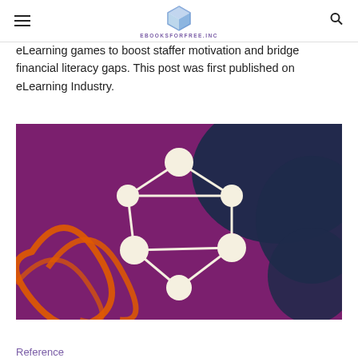EBOOKSFORFREE.INC
eLearning games to boost staffer motivation and bridge financial literacy gaps. This post was first published on eLearning Industry.
[Figure (illustration): Illustration of a network graph with cream-colored circular nodes connected by lines, set against a purple and dark navy background with orange curved shapes in the lower left.]
Reference